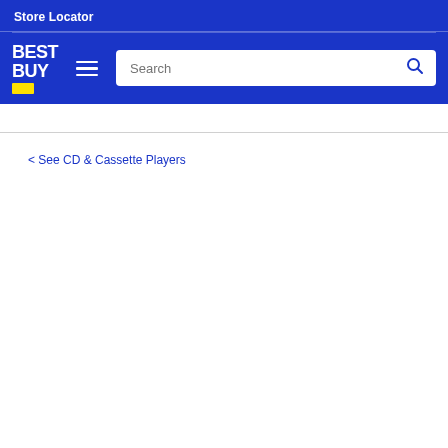Store Locator
[Figure (logo): Best Buy logo with yellow price tag graphic, hamburger menu icon, and search bar with search icon on blue background]
< See CD & Cassette Players